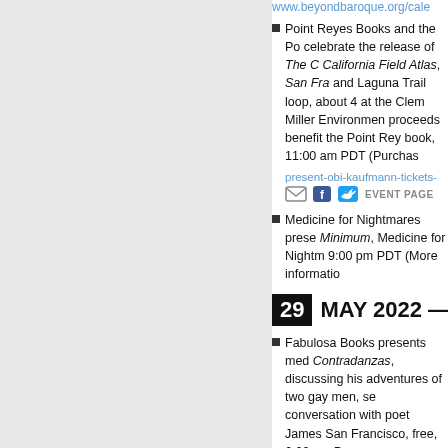www.beyondbaroque.org/cale...
Point Reyes Books and the Po... celebrate the release of The C... California Field Atlas, San Fra... and Laguna Trail loop, about 4... at the Clem Miller Environmen... proceeds benefit the Point Rey... book, 11:00 am PDT (Purchas...
present-obi-kaufmann-tickets-...
Medicine for Nightmares prese... Minimum, Medicine for Nightm... 9:00 pm PDT (More informatio...
29 MAY 2022 —
Fabulosa Books presents med... Contradanzas, discussing his ... adventures of two gay men, se... conversation with poet James ... San Francisco, free, 6:00 pm P...
Los Angeles Poet Society pres... power of literature, inspired by... for music, poetry, small presse... dancer Zariyah, Kesau'C Hill, D... Salinas, Cesar Avelar, contribu... more, with support and guests... FlowerSong Press, World Stag...